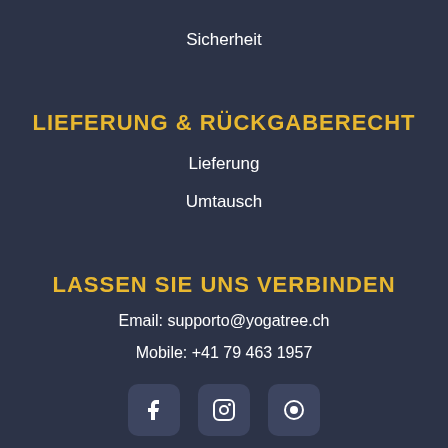Sicherheit
LIEFERUNG & RÜCKGABERECHT
Lieferung
Umtausch
LASSEN SIE UNS VERBINDEN
Email: supporto@yogatree.ch
Mobile: +41 79 463 1957
[Figure (illustration): Three social media icon buttons (Facebook, Instagram, and one more) with dark rounded square backgrounds, partially visible at bottom]